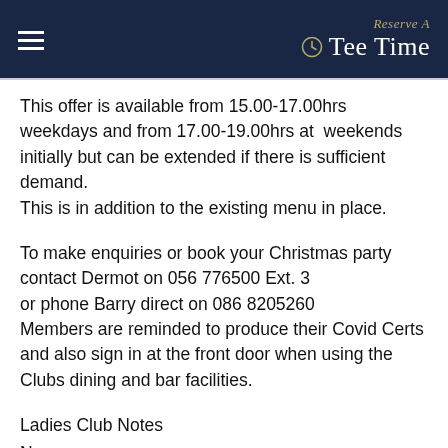Reserve A Tee Time
This offer is available from 15.00-17.00hrs weekdays and from 17.00-19.00hrs at  weekends initially but can be extended if there is sufficient demand.
This is in addition to the existing menu in place.
To make enquiries or book your Christmas party contact Dermot on 056 776500 Ext. 3
or phone Barry direct on 086 8205260
Members are reminded to produce their Covid Certs and also sign in at the front door when using the Clubs dining and bar facilities.
Ladies Club Notes
News
Presentation of Prizes